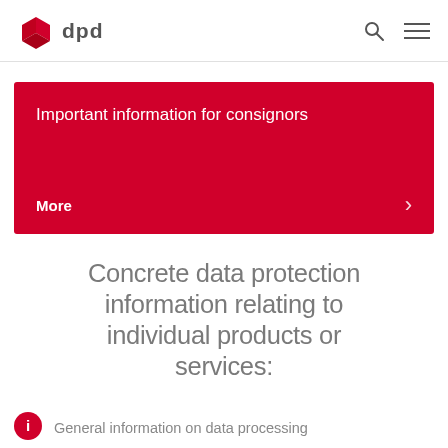dpd
[Figure (infographic): Red banner with text 'Important information for consignors' and 'More' with a right arrow.]
Concrete data protection information relating to individual products or services:
General information on data processing